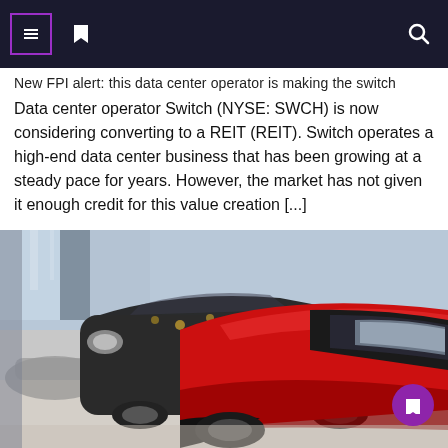New FPI alert: this data center operator is making the switch Data center operator Switch (NYSE: SWCH) is now considering converting to a REIT (REIT). Switch operates a high-end data center business that has been growing at a steady pace for years. However, the market has not given it enough credit for this value creation [...]
[Figure (photo): A row of cars in a car dealership showroom, with a prominent red car in the foreground and dark/black cars behind it. The interior has a polished floor and large windows.]